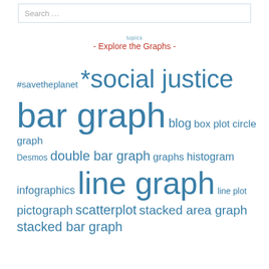Search …
- Explore the Graphs -
#savetheplanet *social justice bar graph blog box plot circle graph Desmos double bar graph graphs histogram infographics line graph line plot pictograph scatterplot stacked area graph stacked bar graph